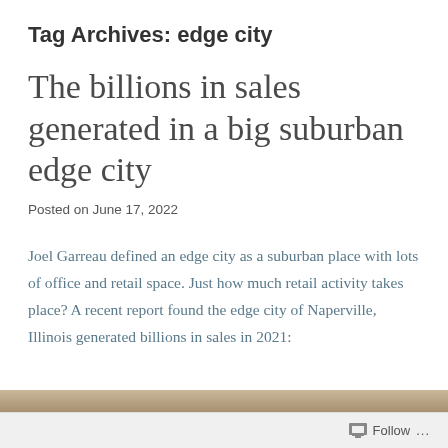Tag Archives: edge city
The billions in sales generated in a big suburban edge city
Posted on June 17, 2022
Joel Garreau defined an edge city as a suburban place with lots of office and retail space. Just how much retail activity takes place? A recent report found the edge city of Naperville, Illinois generated billions in sales in 2021:
[Figure (photo): Partial image strip visible at bottom of page]
Follow ...